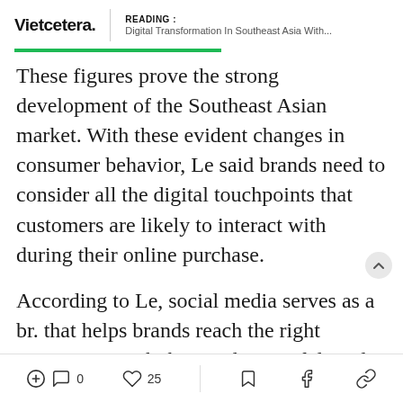Vietcetera. | READING : Digital Transformation In Southeast Asia With...
These figures prove the strong development of the Southeast Asian market. With these evident changes in consumer behavior, Le said brands need to consider all the digital touchpoints that customers are likely to interact with during their online purchase.
According to Le, social media serves as a br. that helps brands reach the right customers. With the rapid pace of digital transformation, the problem here is no longer attracting but
0  25  [bookmark] [facebook] [link]